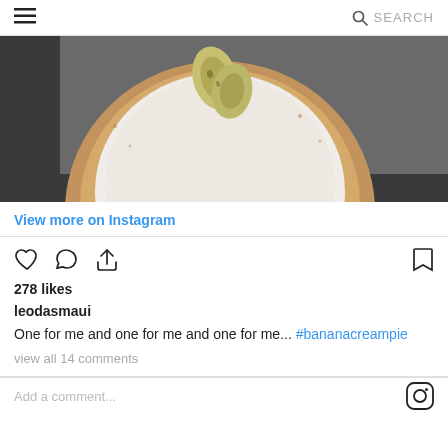≡   🔍 SEARCH
[Figure (photo): Top-down view of a banana cream pie in a graham cracker crust with whipped cream filling and sliced banana on top, placed on a dark baking tray.]
View more on Instagram
278 likes
leodasmaui
One for me and one for me and one for me... #bananacreampie
view all 14 comments
Add a comment...